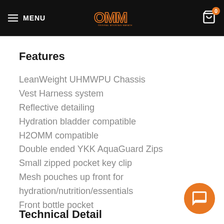MENU | OMM Original Mountain Marathon | Cart 0
Features
LeanWeight UHMWPU Chassis
Vest Harness system
Reflective detailing
Hydration bladder compatible
H2OMM compatible
Double ended YKK AquaGuard Zips
Small zipped pocket key clip
Mesh pouches up front for hydration/nutrition/essentials
Front bottle pocket
Technical Details